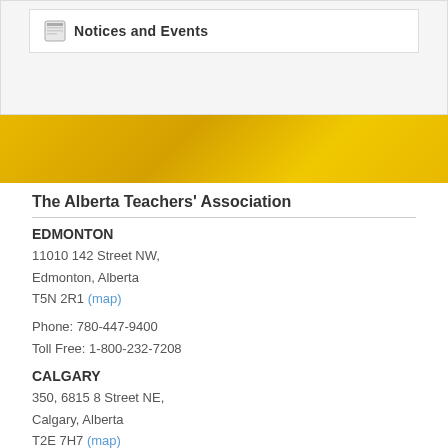Notices and Events
The Alberta Teachers' Association
EDMONTON
11010 142 Street NW,
Edmonton, Alberta
T5N 2R1 (map)
Phone: 780-447-9400
Toll Free: 1-800-232-7208
CALGARY
350, 6815 8 Street NE,
Calgary, Alberta
T2E 7H7 (map)
Phone: 403-265-2672
Toll Free: 1-800-332-1280
teachers.ab.ca
Home
About